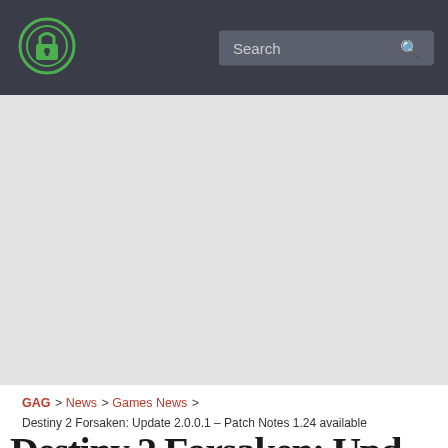Search
[Figure (other): Large gray advertisement/image placeholder area below navigation bar]
GAG > News > Games News > Destiny 2 Forsaken: Update 2.0.0.1 – Patch Notes 1.24 available
Destiny 2 Forsaken: Update...